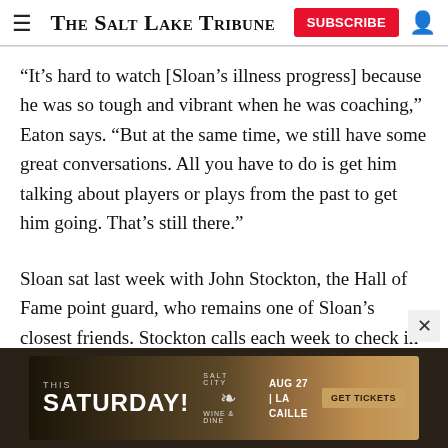The Salt Lake Tribune
“It’s hard to watch [Sloan’s illness progress] because he was so tough and vibrant when he was coaching,” Eaton says. “But at the same time, we still have some great conversations. All you have to do is get him talking about players or plays from the past to get him going. That’s still there.”
Sloan sat last week with John Stockton, the Hall of Fame point guard, who remains one of Sloan’s closest friends. Stockton calls each week to check in on his
[Figure (photo): Advertisement banner for Salt City Wine & Dine event: THIS SATURDAY! AUG 27 LA CAILLE GET TICKETS]